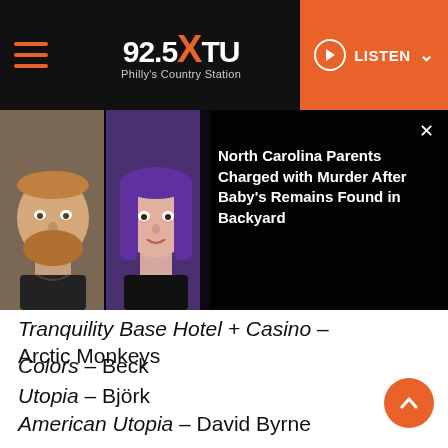92.5 XTU – Philly's Country Station | LISTEN
[Figure (photo): Mugshot photos of a man with a beard and a woman with purple hair on a black background, with a news popup overlay reading: North Carolina Parents Charged with Murder After Baby's Remains Found in Backyard]
Tranquility Base Hotel + Casino – Arctic Monkeys
Colors – Beck
Utopia – Björk
American Utopia – David Byrne
Masseduction – St. Vincent
Best R&B Performance
“Long as I Live” – Toni Braxton
“Summer” – The Carters